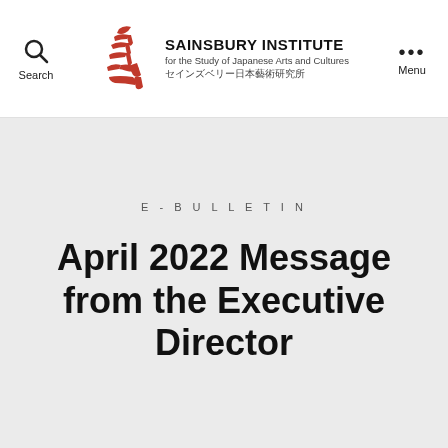Search | SAINSBURY INSTITUTE for the Study of Japanese Arts and Cultures セインズベリー日本藝術研究所 | Menu
E-BULLETIN
April 2022 Message from the Executive Director